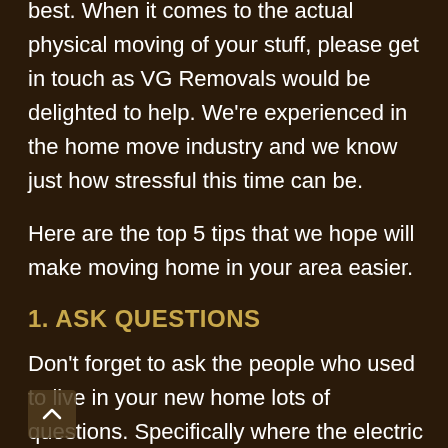best. When it comes to the actual physical moving of your stuff, please get in touch as VG Removals would be delighted to help. We're experienced in the home move industry and we know just how stressful this time can be.
Here are the top 5 tips that we hope will make moving home in your area easier.
1. ASK QUESTIONS
Don't forget to ask the people who used to live in your new home lots of questions. Specifically where the electric and gas metres are and where to find the stopcock. This will likely make your life much easier at